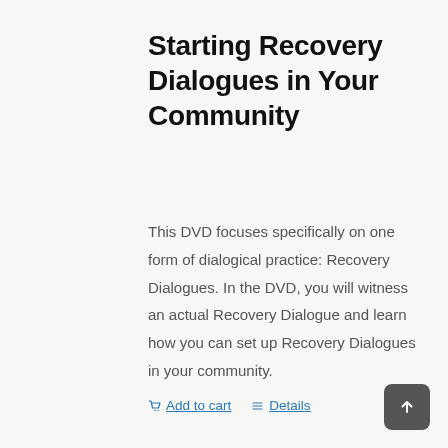Starting Recovery Dialogues in Your Community
This DVD focuses specifically on one form of dialogical practice: Recovery Dialogues. In the DVD, you will witness an actual Recovery Dialogue and learn how you can set up Recovery Dialogues in your community.
Add to cart   Details